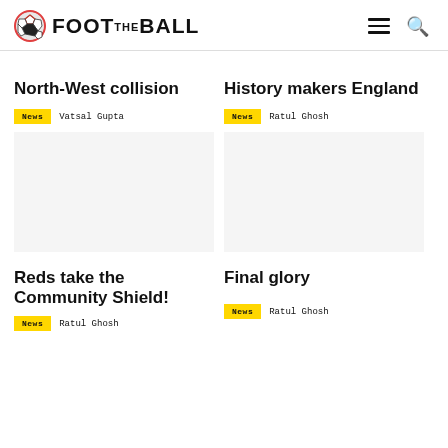FOOTBALLL — navigation header with logo, hamburger menu, and search icon
North-West collision
News   Vatsal Gupta
History makers England
News   Ratul Ghosh
Reds take the Community Shield!
News   Ratul Ghosh
Final glory
News   Ratul Ghosh